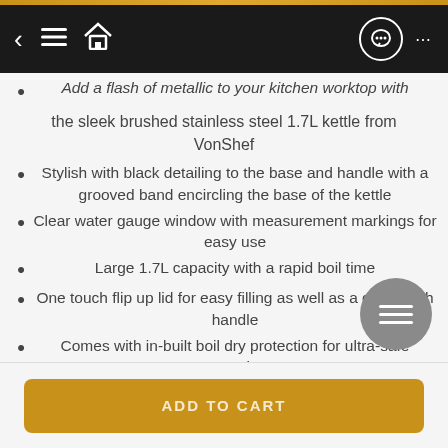[Figure (screenshot): Mobile app navigation bar with back arrow, hamburger menu, home icon on dark background, chat bubble and ellipsis icons on right]
Add a flash of metallic to your kitchen worktop with the sleek brushed stainless steel 1.7L kettle from VonShef
Stylish with black detailing to the base and handle with a grooved band encircling the base of the kettle
Clear water gauge window with measurement markings for easy use
Large 1.7L capacity with a rapid boil time
One touch flip up lid for easy filling as well as a cool-touch handle
Comes with in-built boil dry protection for ultra-safe operation
360° cordless swivel base fitted with world-leading STRIX control
ADD TO CART